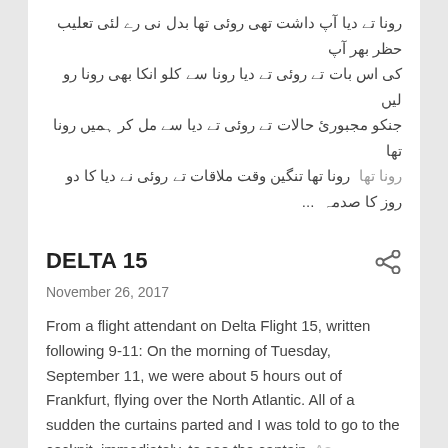رونا تے دیا آپ داشت تھی روئی تھا بدل نی رے لئی تعلیب حظر بھر آپ کی اس بات تے روئی تے دیا رونا سے کلو انکا بھی رونا رو لیں جنکو مجبورئ حالات تے روئی تے دیا سے مل کر ہمیں رونا تھا رونا تھا تنگین وقت ملاقات تے روئی نے دیا کا دو روز کا صدمہ ...
Post a Comment
READ MORE
DELTA 15
November 26, 2017
From a flight attendant on Delta Flight 15, written following 9-11: On the morning of Tuesday, September 11, we were about 5 hours out of Frankfurt, flying over the North Atlantic. All of a sudden the curtains parted and I was told to go to the cockpit, immediately, to see the captain. As ...